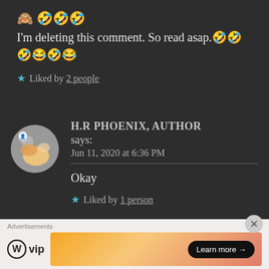🙈 🤣🤣🤣
I'm deleting this comment. So read asap.🤣🤣🤣😂🤣😂
★ Liked by 2 people
H.R PHOENIX, AUTHOR says:
Jun 11, 2020 at 6:36 PM
Okay
★ Liked by 1 person
Advertisements
[Figure (logo): WordPress VIP logo with circular W icon and 'vip' text]
[Figure (infographic): Orange/pink gradient ad banner with 'Learn more →' button]